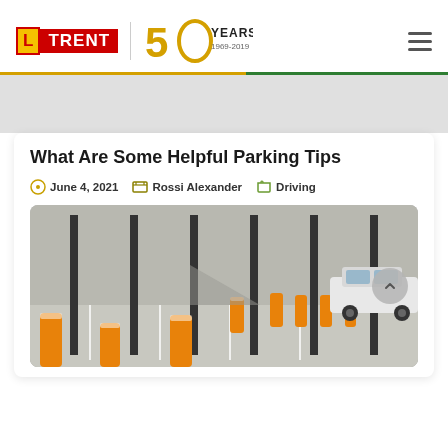LTrent 50 Years 1969-2019
What Are Some Helpful Parking Tips
June 4, 2021   Rossi Alexander   Driving
[Figure (photo): Parking lot with orange bollards/pillars and a white car in the background]